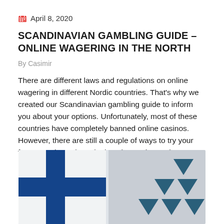April 8, 2020
SCANDINAVIAN GAMBLING GUIDE – ONLINE WAGERING IN THE NORTH
By Casimir
There are different laws and regulations on online wagering in different Nordic countries. That's why we created our Scandinavian gambling guide to inform you about your options. Unfortunately, most of these countries have completely banned online casinos. However, there are still a couple of ways to try your fortune. Take a closer look at the north together!
[Figure (photo): Partial view of Finnish flag (blue cross on white) on left side, and a teal/dark blue geometric logo made of downward-pointing triangles on the right, against a grey background.]